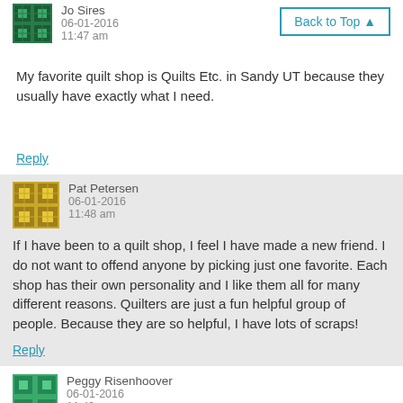Jo Sires
06-01-2016
11:47 am
Back to Top ▲
My favorite quilt shop is Quilts Etc. in Sandy UT because they usually have exactly what I need.
Reply
Pat Petersen
06-01-2016
11:48 am
If I have been to a quilt shop, I feel I have made a new friend. I do not want to offend anyone by picking just one favorite. Each shop has their own personality and I like them all for many different reasons. Quilters are just a fun helpful group of people. Because they are so helpful, I have lots of scraps!
Reply
Peggy Risenhoover
06-01-2016
11:49 am